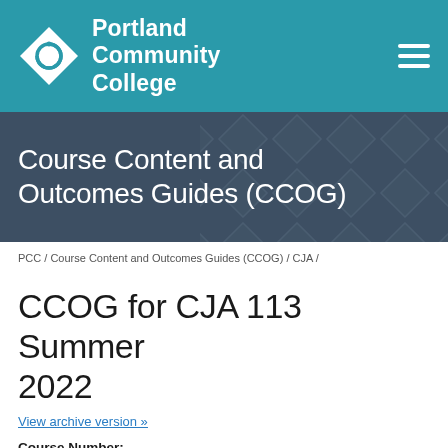Portland Community College
Course Content and Outcomes Guides (CCOG)
PCC / Course Content and Outcomes Guides (CCOG) / CJA /
CCOG for CJA 113 Summer 2022
View archive version »
Course Number:
CJA 113